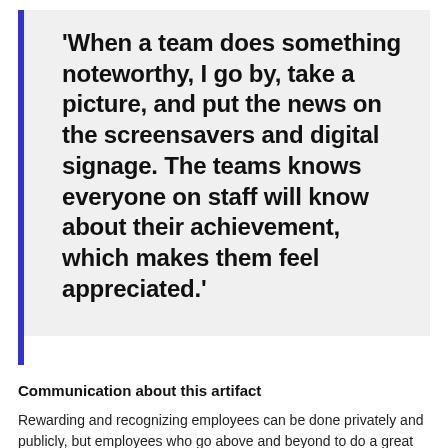'When a team does something noteworthy, I go by, take a picture, and put the news on the screensavers and digital signage. The teams knows everyone on staff will know about their achievement, which makes them feel appreciated.'
Communication about this artifact
Rewarding and recognizing employees can be done privately and publicly, but employees who go above and beyond to do a great job need recognition for their hard work. Highly engaged organizations with strong